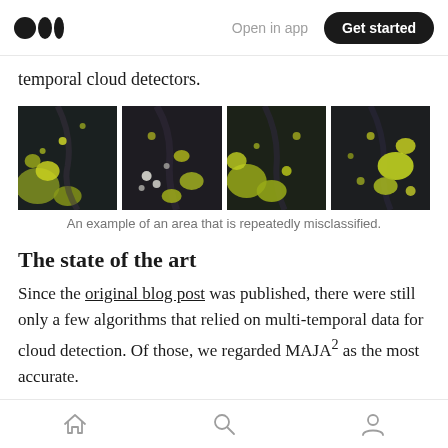Open in app | Get started
temporal cloud detectors.
[Figure (photo): Four satellite imagery panels showing an area that is repeatedly misclassified, featuring dark terrain with yellow-green patches]
An example of an area that is repeatedly misclassified.
The state of the art
Since the original blog post was published, there were still only a few algorithms that relied on multi-temporal data for cloud detection. Of those, we regarded MAJA² as the most accurate.
Home | Search | Profile